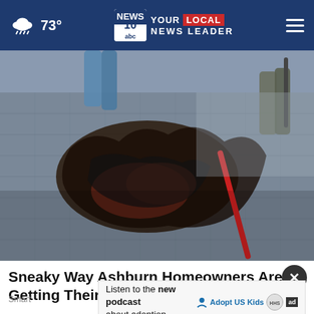73° NEWS 10 YOUR LOCAL NEWS LEADER
[Figure (photo): Workers removing old shingles from a rooftop, showing damaged and torn roofing material being pulled away with tools]
Sneaky Way Ashburn Homeowners Are Getting Their Old Roof Replaced
Smart
Listen to the new podcast about adoption.